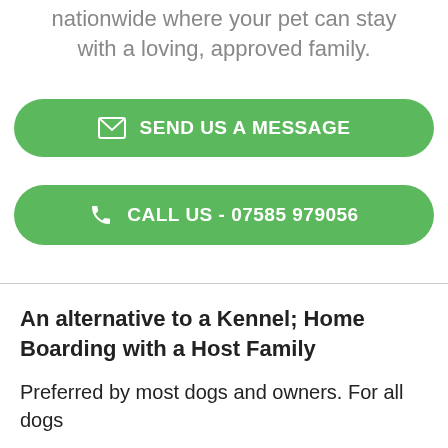nationwide where your pet can stay with a loving, approved family.
[Figure (other): Green rounded button with envelope icon and text 'SEND US A MESSAGE']
[Figure (other): Green rounded button with phone icon and text 'CALL US - 07585 979056']
An alternative to a Kennel; Home Boarding with a Host Family
Preferred by most dogs and owners. For all dogs